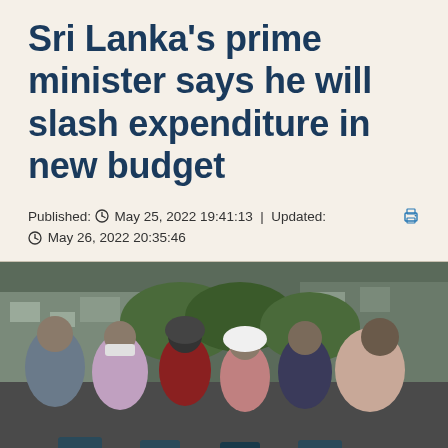Sri Lanka's prime minister says he will slash expenditure in new budget
Published: May 25, 2022 19:41:13 | Updated: May 26, 2022 20:35:46
[Figure (photo): People waiting in a line, some wearing masks and headscarves, at what appears to be a gas distribution point. Several people are crouching near containers.]
People wait in a line to buy domestic gas tanks near